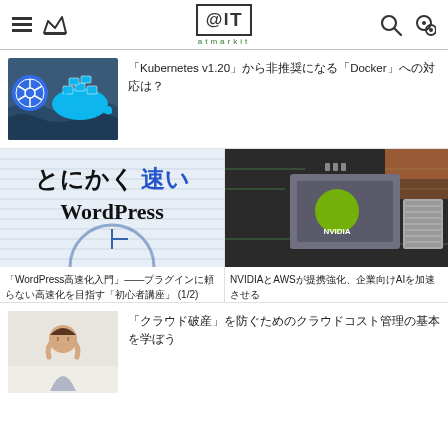@IT atmarkit
[Figure (screenshot): Kubernetes and Docker logos on ocean background]
「Kubernetes v1.20」から非推奨になる「Docker」への対応は？
[Figure (screenshot): とにかく速い WordPress - WordPress speed article thumbnail]
「WordPress高速化入門」——プラグインに頼らない高速化を目指す「初心者講座」 (1/2)
[Figure (photo): NVIDIA chip on circuit board - AWS AI article thumbnail]
NVIDIAとAWSが提携強化、企業向けAIを加速させる
[Figure (photo): Person looking stressed - article thumbnail]
「クラウド破産」を防ぐためのクラウドコスト管理の基本を学ぼう